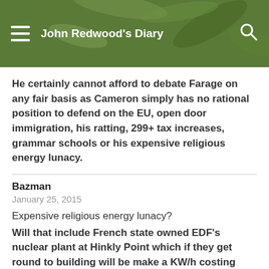John Redwood's Diary
He certainly cannot afford to debate Farage on any fair basis as Cameron simply has no rational position to defend on the EU, open door immigration, his ratting, 299+ tax increases, grammar schools or his expensive religious energy lunacy.
Bazman
January 25, 2015
Expensive religious energy lunacy?
Will that include French state owned EDF's nuclear plant at Hinkly Point which if they get round to building will be make a KW/h costing £7500 after subsidy with no guarantees of generation. Or standby power being bought for £39 per KW/h but when put out for tender being only £19.40. Begging the